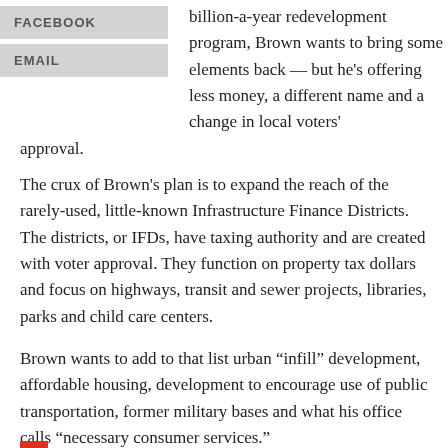FACEBOOK
EMAIL
billion-a-year redevelopment program, Brown wants to bring some elements back — but he's offering less money, a different name and a change in local voters' approval.
The crux of Brown's plan is to expand the reach of the rarely-used, little-known Infrastructure Finance Districts. The districts, or IFDs, have taxing authority and are created with voter approval. They function on property tax dollars and focus on highways, transit and sewer projects, libraries, parks and child care centers.
Brown wants to add to that list urban “infill” development, affordable housing, development to encourage use of public transportation, former military bases and what his office calls “necessary consumer services.”